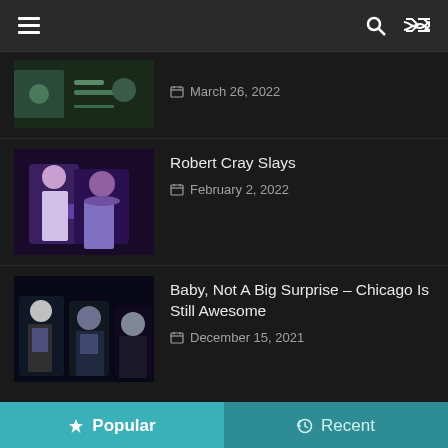Menu | Search | Shuffle
March 26, 2022
Robert Cray Slays
February 2, 2022
Baby, Not A Big Surprise – Chicago Is Still Awesome
December 15, 2021
Popular | Recent
Theory of a Deadman – Spinal Tap Drummer Syndrome?
March 2, 2020  0 Comments